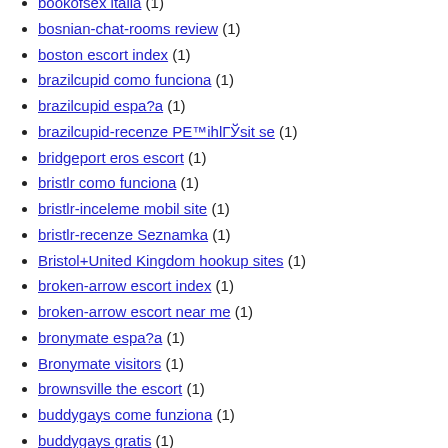bookofsex italia (1)
bosnian-chat-rooms review (1)
boston escort index (1)
brazilcupid como funciona (1)
brazilcupid espa?a (1)
brazilcupid-recenze PE™ihlГЎsit se (1)
bridgeport eros escort (1)
bristlr como funciona (1)
bristlr-inceleme mobil site (1)
bristlr-recenze Seznamka (1)
Bristol+United Kingdom hookup sites (1)
broken-arrow escort index (1)
broken-arrow escort near me (1)
bronymate espa?a (1)
Bronymate visitors (1)
brownsville the escort (1)
buddygays come funziona (1)
buddygays gratis (1)
BuddyGays service (1)
buddygays-overzicht Dating (1)
buffalo escort near me (1)
bulgaria-dating sign in (1)
bumble avis (1)
bumble dating (1)
Bumble visitors (2)